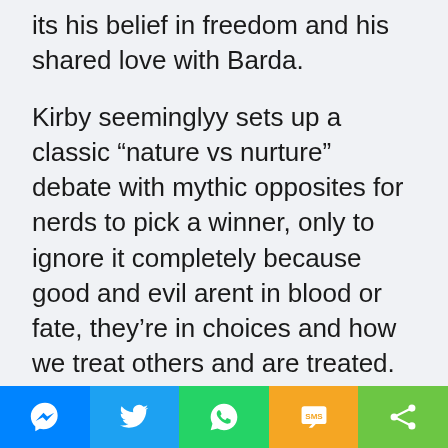its his belief in freedom and his shared love with Barda.
Kirby seeminglyy sets up a classic “nature vs nurture” debate with mythic opposites for nerds to pick a winner, only to ignore it completely because good and evil arent in blood or fate, they’re in choices and how we treat others and are treated. Of COURSE both boys can be good.
Don’t get me wrong, I do believe idealism should be criticized and challenged! I just